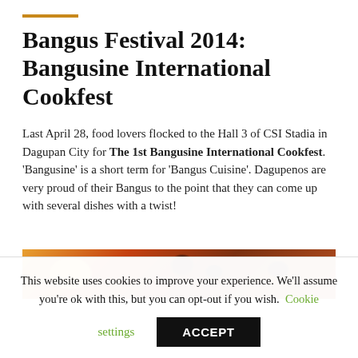Bangus Festival 2014: Bangusine International Cookfest
Last April 28, food lovers flocked to the Hall 3 of CSI Stadia in Dagupan City for The 1st Bangusine International Cookfest. 'Bangusine' is a short term for 'Bangus Cuisine'. Dagupenos are very proud of their Bangus to the point that they can come up with several dishes with a twist!
[Figure (photo): Partial photo of a Bangus (milkfish) dish with orange and warm-toned garnishes visible at the top of the image strip]
This website uses cookies to improve your experience. We'll assume you're ok with this, but you can opt-out if you wish. Cookie settings ACCEPT